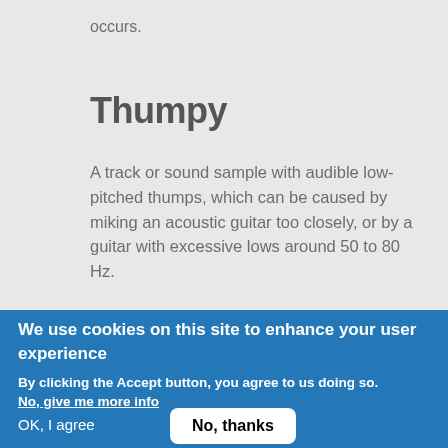occurs.
Thumpy
A track or sound sample with audible low-pitched thumps, which can be caused by miking an acoustic guitar too closely, or by a guitar with excessive lows around 50 to 80 Hz.
We use cookies on this site to enhance your user experience
By clicking the Accept button, you agree to us doing so.
No, give me more info
OK, I agree
No, thanks